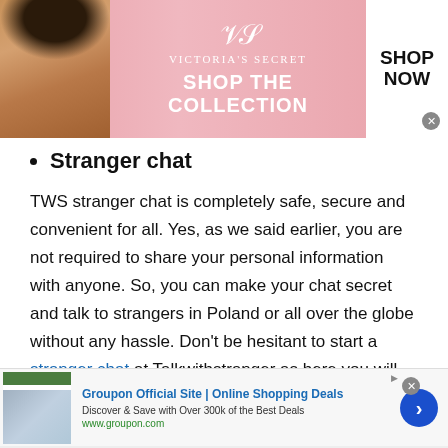[Figure (screenshot): Victoria's Secret advertisement banner with model, logo, 'SHOP THE COLLECTION' text, and 'SHOP NOW' button]
Stranger chat
TWS stranger chat is completely safe, secure and convenient for all. Yes, as we said earlier, you are not required to share your personal information with anyone. So, you can make your chat secret and talk to strangers in Poland or all over the globe without any hassle. Don't be hesitant to start a stranger chat at Talkwithstranger as here you will never experience inconvenience. You will not be bullied or harassed by anyone.
[Figure (screenshot): Groupon Official Site advertisement banner with thumbnail images and 'Discover & Save with Over 300k of the Best Deals' tagline]